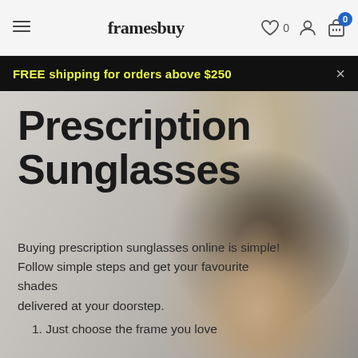framesbuy — navigation header with hamburger menu, wishlist (0), account icon, basket (0)
FREE shipping for orders above $250
[Figure (photo): Woman wearing large round sunglasses and a grey knit hat, blurred outdoor background, used as hero image for Prescription Sunglasses page]
Prescription Sunglasses
Buying prescription sunglasses online is simple! Follow simple steps and get your favourite shades delivered at your doorstep.
1. Just choose the frame you love